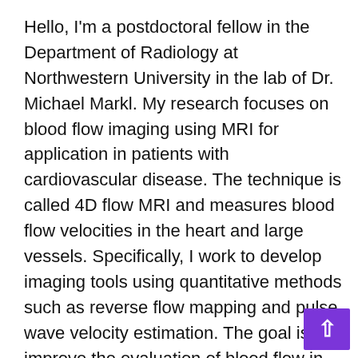Hello, I'm a postdoctoral fellow in the Department of Radiology at Northwestern University in the lab of Dr. Michael Markl. My research focuses on blood flow imaging using MRI for application in patients with cardiovascular disease. The technique is called 4D flow MRI and measures blood flow velocities in the heart and large vessels. Specifically, I work to develop imaging tools using quantitative methods such as reverse flow mapping and pulse wave velocity estimation. The goal is to improve the evaluation of blood flow in patients with aortic dissection and cryptogenic stroke.

I first became interested in MRI as a research assistant in the Department of Psychiatry and Behavioral Neuroscience at the University of Cincinnati. There, I contributed to multiple imaging projects and published my first study evaluating brain and other neurological disorders. During that time and...